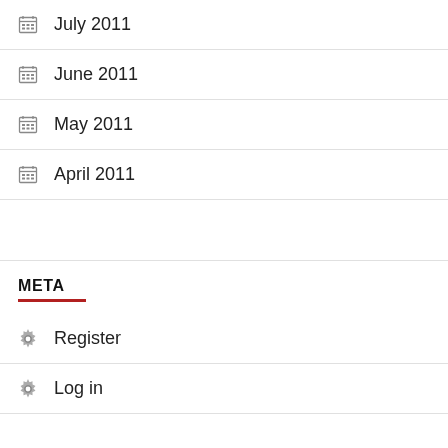July 2011
June 2011
May 2011
April 2011
META
Register
Log in